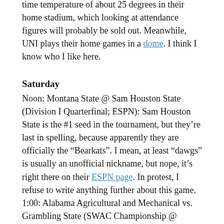time temperature of about 25 degrees in their home stadium, which looking at attendance figures will probably be sold out. Meanwhile, UNI plays their home games in a dome. I think I know who I like here.
Saturday
Noon: Montana State @ Sam Houston State (Division I Quarterfinal; ESPN): Sam Houston State is the #1 seed in the tournament, but they're last in spelling, because apparently they are officially the "Bearkats". I mean, at least "dawgs" is usually an unofficial nickname, but nope, it's right there on their ESPN page. In protest, I refuse to write anything further about this game.
1:00: Alabama Agricultural and Mechanical vs. Grambling State (SWAC Championship @ Birmingham, AL; ESPNU): I really debated putting this game on the list. It's on TV and all, but... I don't know, maybe I just don't fully understand the traditions of the SWAC that would lessen the attractiveness to